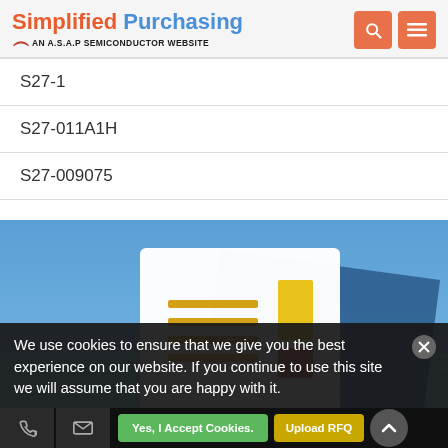Simplified Purchasing — AN A.S.A.P SEMICONDUCTOR WEBSITE
S27-1
S27-011A1H
S27-009075
[Figure (illustration): Promotional banner with blue sky background showing a stylized document/form graphic alongside fighter jets flying in formation]
We use cookies to ensure that we give you the best experience on our website. If you continue to use this site we will assume that you are happy with it.